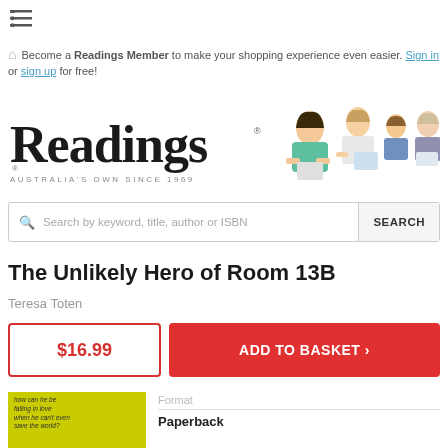[Figure (screenshot): Hamburger/list menu icon at top left]
Become a Readings Member to make your shopping experience even easier. Sign in or sign up for free!
[Figure (logo): Readings bookstore logo with illustrated readers — 'Readings AUSTRALIA'S OWN SINCE 1969']
Search by keyword, title, author or ISBN  SEARCH
The Unlikely Hero of Room 13B
Teresa Toten
$16.99
ADD TO BASKET ›
[Figure (photo): Book cover for 'The Unlikely Hero of Room 13B' with yellow-green chevron background, text: 'how can he be falling in love when he can't even save the world?']
Format
Paperback